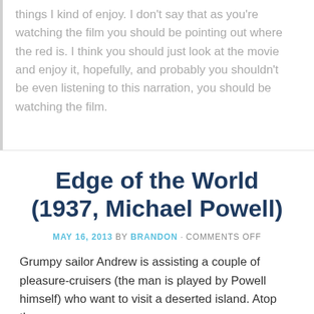things I kind of enjoy. I don't say that as you're watching the film you should be pointing out where the red is. I think you should just look at the movie and enjoy it, hopefully, and probably you shouldn't be even listening to this narration, you should be watching the film.
Edge of the World (1937, Michael Powell)
MAY 16, 2013 BY BRANDON · COMMENTS OFF
Grumpy sailor Andrew is assisting a couple of pleasure-cruisers (the man is played by Powell himself) who want to visit a deserted island. Atop the